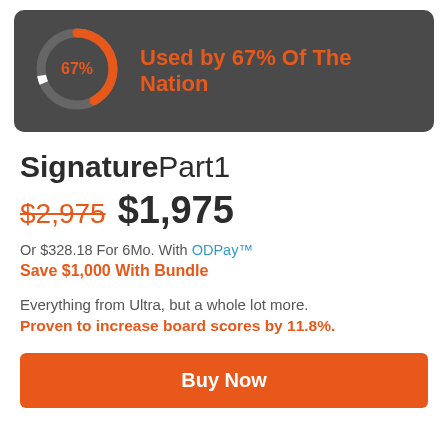[Figure (donut-chart): Donut chart showing 67% in orange on dark background banner. Center label reads '67%'.]
SignaturePart1
$2,975 $1,975
Or $328.18 For 6Mo. With ODPay™
Save $1,000 With Bundle
Everything from Ultra, but a whole lot more.
Proven to increase board scores by 11.8%.
Buy Now